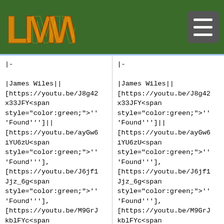LMW logo and navigation menu
|-
|James Wiles||[https://youtu.be/J8g42x33JFY<span style="color:green;">'''Found''']||[https://youtu.be/ayGw6iYU6zU<span style="color:green;">'''Found'''], [https://youtu.be/J6jf1Jjz_6g<span style="color:green;">'''Found'''], [https://youtu.be/M9GrJkblFYc<span style="color:green;">'''Found''']
|-
|James Wiles||[https://youtu.be/J8g42x33JFY<span style="color:green;">'''Found''']||[https://youtu.be/ayGw6iYU6zU<span style="color:green;">'''Found'''], [https://youtu.be/J6jf1Jjz_6g<span style="color:green;">'''Found'''], [https://youtu.be/M9GrJkblFYc<span style="color:green;">'''Found''']